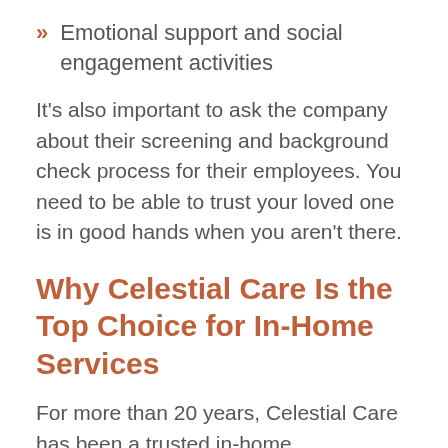» Emotional support and social engagement activities
It’s also important to ask the company about their screening and background check process for their employees. You need to be able to trust your loved one is in good hands when you aren’t there.
Why Celestial Care Is the Top Choice for In-Home Services
For more than 20 years, Celestial Care has been a trusted in-home